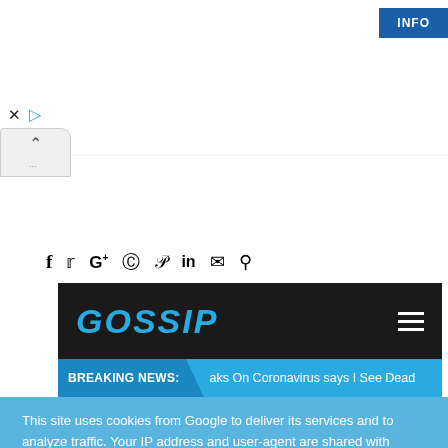[Figure (screenshot): Ad banner area with INFO button, X and play controls, and collapse arrow button]
[Figure (screenshot): Social media icons row: Facebook, Twitter, Google+, Instagram, Pinterest, LinkedIn, Email, Search]
[Figure (screenshot): Gossip website navigation bar with logo in cyan italic bold text and hamburger menu icon on dark background]
BREAKING NEWS: aks On Coronavirus says I See Dead
This site uses cookies from Google to deliver its services and to analyze traffic. Your IP address and user-agent are shared with Google along with performance and security metrics to ensure quality of service, generate usage statistics, and to detect and address abuse.
Learn More
Ok